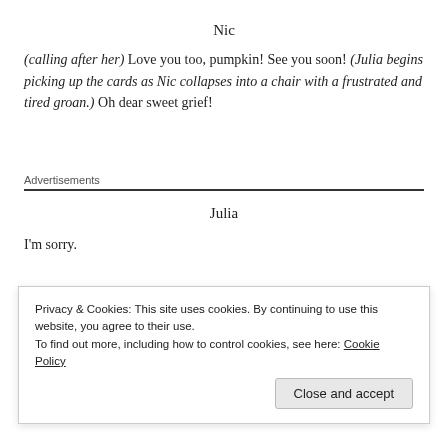Nic
(calling after her) Love you too, pumpkin! See you soon! (Julia begins picking up the cards as Nic collapses into a chair with a frustrated and tired groan.) Oh dear sweet grief!
Advertisements
Julia
I'm sorry.
Nic
Privacy & Cookies: This site uses cookies. By continuing to use this website, you agree to their use.
To find out more, including how to control cookies, see here: Cookie Policy
Close and accept